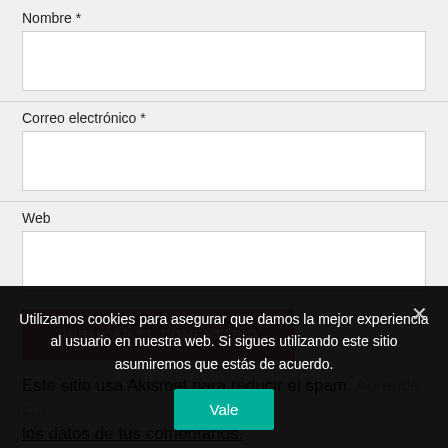Nombre *
Correo electrónico *
Web
PUBLICAR EL COMENTARIO
Este sitio usa Akismet para reducir el spam. Aprende c…
los datos de tus comentarios.
Utilizamos cookies para asegurar que damos la mejor experiencia al usuario en nuestra web. Si sigues utilizando este sitio asumiremos que estás de acuerdo.
Vale